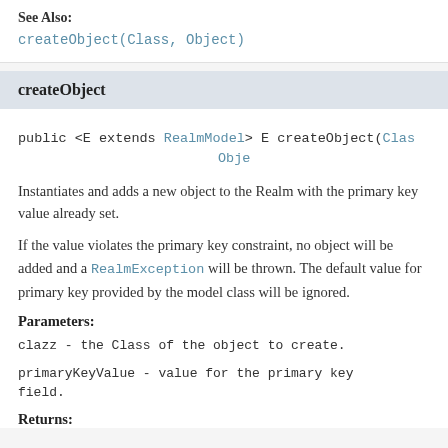See Also:
createObject(Class, Object)
createObject
public <E extends RealmModel> E createObject(Class Obje
Instantiates and adds a new object to the Realm with the primary key value already set.
If the value violates the primary key constraint, no object will be added and a RealmException will be thrown. The default value for primary key provided by the model class will be ignored.
Parameters:
clazz - the Class of the object to create.
primaryKeyValue - value for the primary key field.
Returns: